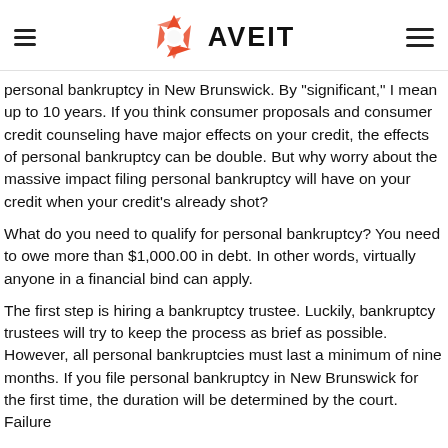AVEIT
personal bankruptcy in New Brunswick. By "significant," I mean up to 10 years. If you think consumer proposals and consumer credit counseling have major effects on your credit, the effects of personal bankruptcy can be double. But why worry about the massive impact filing personal bankruptcy will have on your credit when your credit's already shot?
What do you need to qualify for personal bankruptcy? You need to owe more than $1,000.00 in debt. In other words, virtually anyone in a financial bind can apply.
The first step is hiring a bankruptcy trustee. Luckily, bankruptcy trustees will try to keep the process as brief as possible. However, all personal bankruptcies must last a minimum of nine months. If you file personal bankruptcy in New Brunswick for the first time, the duration will be determined by the court. Failure